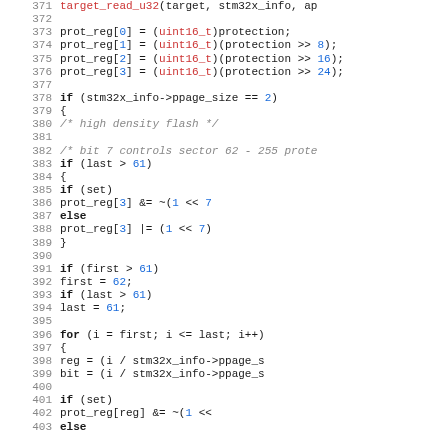[Figure (screenshot): Source code listing showing C code for STM32 flash protection register manipulation, lines 371-403]